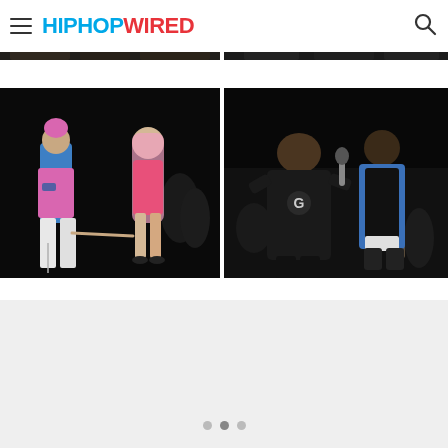HipHopWired
[Figure (photo): Partially visible photo of people at an event, top strip only]
[Figure (photo): Partially visible photo of people at an event, top strip only]
[Figure (photo): Man with pink/blue tattoo outfit and woman in pink dress holding hands at night event (MGK and Megan Fox style)]
[Figure (photo): Two men performing on stage at night, one in black hoodie, one in blue jacket with microphone]